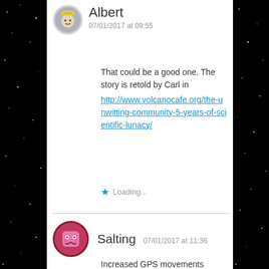Albert
07/01/2017 at 09:55
That could be a good one. The story is retold by Carl in http://www.volcanocafe.org/the-unwitting-community-5-years-of-scientific-lunacy/
Loading...
Salting  07/01/2017 at 11:36
Increased GPS movements Northeast and up of the Skrokkalda station the last days. Placed northwest of Barda. Nothing on